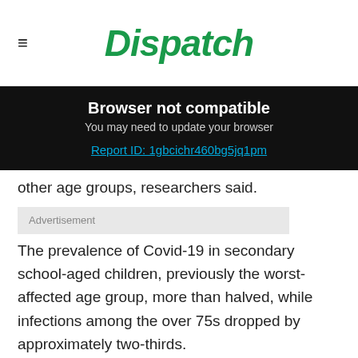Dispatch
[Figure (infographic): Browser not compatible banner with text: 'Browser not compatible', 'You may need to update your browser', and a link 'Report ID: 1gbcichr460bg5jq1pm' on a black background.]
other age groups, researchers said.
Advertisement
The prevalence of Covid-19 in secondary school-aged children, previously the worst-affected age group, more than halved, while infections among the over 75s dropped by approximately two-thirds.